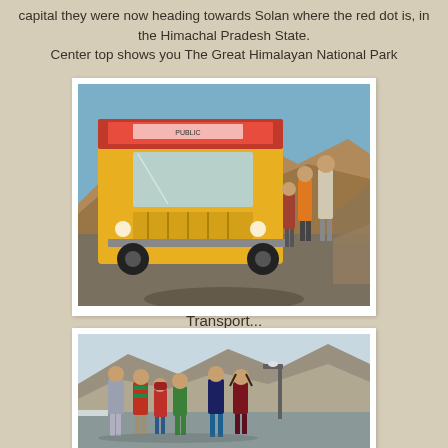capital they were now heading towards Solan where the red dot is, in the Himachal Pradesh State.
Center top shows you The Great Himalayan National Park
[Figure (photo): A yellow truck/lorry decorated with colorful paintings parked on a road in a hilly area. Several children and adults stand beside and near the truck. Rocky hills visible in the background under a blue sky.]
Transport...
[Figure (photo): Six children of varying ages standing on a road in front of rocky hills. They are dressed in colorful warm clothing — sweaters and jackets. A street lamp is visible in the background.]